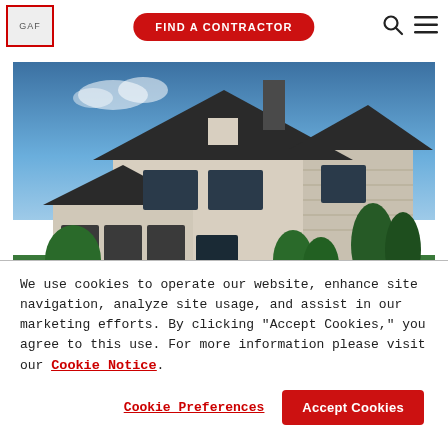[Figure (logo): GAF logo in red border box, top left]
FIND A CONTRACTOR
[Figure (photo): Large two-story luxury home with dark asphalt shingle roof, beige/stone exterior, three-car garage, green landscaping, blue sky background]
We use cookies to operate our website, enhance site navigation, analyze site usage, and assist in our marketing efforts. By clicking "Accept Cookies," you agree to this use. For more information please visit our Cookie Notice.
Cookie Preferences
Accept Cookies